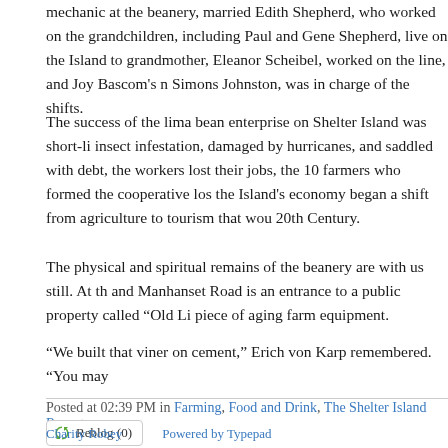mechanic at the beanery, married Edith Shepherd, who worked on the grandchildren, including Paul and Gene Shepherd, live on the Island to grandmother, Eleanor Scheibel, worked on the line, and Joy Bascom's n Simons Johnston, was in charge of the shifts.
The success of the lima bean enterprise on Shelter Island was short-li insect infestation, damaged by hurricanes, and saddled with debt, the workers lost their jobs, the 10 farmers who formed the cooperative los the Island's economy began a shift from agriculture to tourism that wou 20th Century.
The physical and spiritual remains of the beanery are with us still. At th and Manhanset Road is an entrance to a public property called “Old Li piece of aging farm equipment.
“We built that viner on cement,” Erich von Karp remembered. “You may
Posted at 02:39 PM in Farming, Food and Drink, The Shelter Island Reporter
[Figure (other): Reblog (0) button with green recycle/reblog icon]
Charity Robey    Powered by Typepad